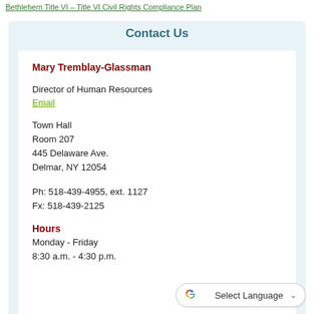Bethlehem Title VI – Title VI Civil Rights Compliance Plan
Contact Us
Mary Tremblay-Glassman
Director of Human Resources
Email
Town Hall
Room 207
445 Delaware Ave.
Delmar, NY 12054
Ph: 518-439-4955, ext. 1127
Fx: 518-439-2125
Hours
Monday - Friday
8:30 a.m. - 4:30 p.m.